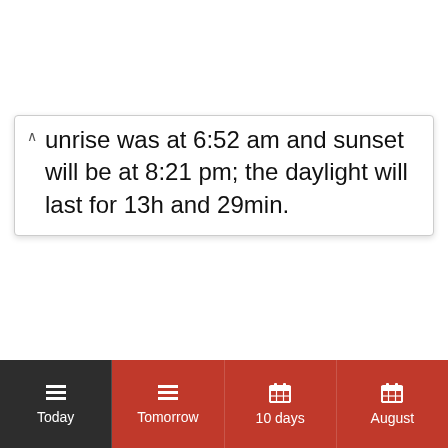Sunrise was at 6:52 am and sunset will be at 8:21 pm; the daylight will last for 13h and 29min.
[Figure (screenshot): Bottom navigation bar with four tabs: Today (active, dark background), Tomorrow, 10 days, August — each with a menu/calendar icon above the label on a dark red background.]